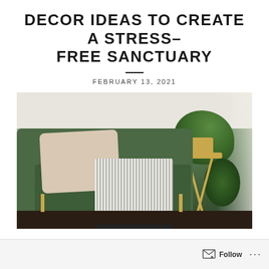DECOR IDEAS TO CREATE A STRESS-FREE SANCTUARY
FEBRUARY 13, 2021
[Figure (photo): Green velvet armchair with a beige pillow and a striped throw blanket with black fringe, next to a gold X-frame side table holding a large trailing houseplant, near a bright window]
Follow ...